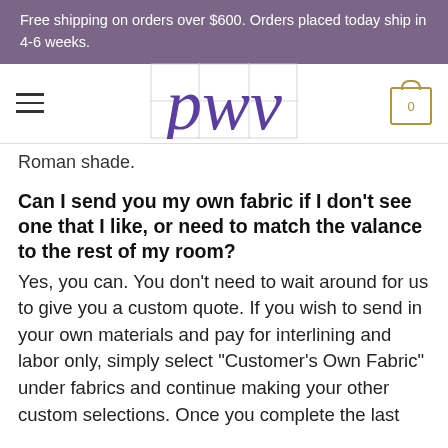Free shipping on orders over $600. Orders placed today ship in 4-6 weeks.
[Figure (logo): PWV logo in purple italic serif font with grid overlay]
Roman shade.
Can I send you my own fabric if I don’t see one that I like, or need to match the valance to the rest of my room?
Yes, you can. You don’t need to wait around for us to give you a custom quote. If you wish to send in your own materials and pay for interlining and labor only, simply select “Customer’s Own Fabric” under fabrics and continue making your other custom selections. Once you complete the last